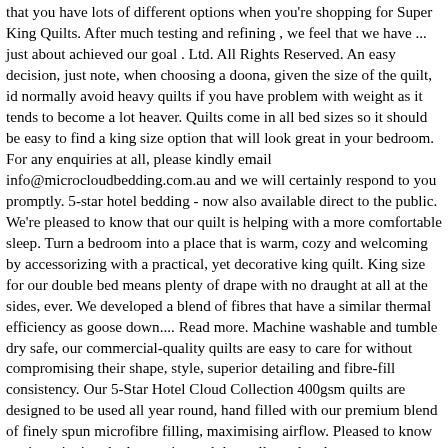that you have lots of different options when you're shopping for Super King Quilts. After much testing and refining , we feel that we have ... just about achieved our goal . Ltd. All Rights Reserved. An easy decision, just note, when choosing a doona, given the size of the quilt, id normally avoid heavy quilts if you have problem with weight as it tends to become a lot heaver. Quilts come in all bed sizes so it should be easy to find a king size option that will look great in your bedroom. For any enquiries at all, please kindly email info@microcloudbedding.com.au and we will certainly respond to you promptly. 5-star hotel bedding - now also available direct to the public. We're pleased to know that our quilt is helping with a more comfortable sleep. Turn a bedroom into a place that is warm, cozy and welcoming by accessorizing with a practical, yet decorative king quilt. King size for our double bed means plenty of drape with no draught at all at the sides, ever. We developed a blend of fibres that have a similar thermal efficiency as goose down.... Read more. Machine washable and tumble dry safe, our commercial-quality quilts are easy to care for without compromising their shape, style, superior detailing and fibre-fill consistency. Our 5-Star Hotel Cloud Collection 400gsm quilts are designed to be used all year round, hand filled with our premium blend of finely spun microfibre filling, maximising airflow. Pleased to know you're enjoying the larger size and the well regulated temperature our quilt provides. * We recommend you purchase a quilt one size larger than the size of your mattress. Just what we are looking for, as we hate our heavy wool quilt. Great buy worth every cent. Sunshine Comforts DUVET EXTRA DEEP SLEEP QUILTS 4.5 10.5 13.5 15 TOG SUPER KING SIZE - ANTI ALLERGY (15 Tog (Winter), Super King) 4.5 out of 5 t... 039 629 99 6 39 . You can find the perfect doona no matter what ...